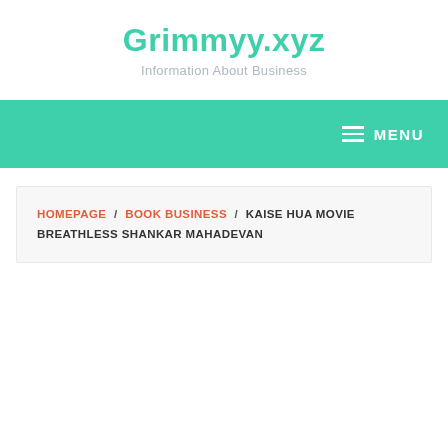Grimmyy.xyz
Information About Business
MENU
HOMEPAGE / BOOK BUSINESS / KAISE HUA MOVIE BREATHLESS SHANKAR MAHADEVAN